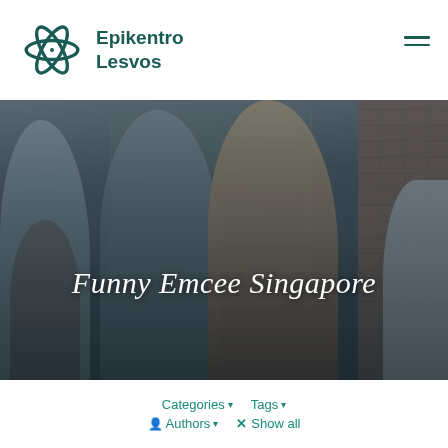[Figure (logo): Epikentro Lesvos logo with stylized flower/asterisk mark in dark teal and bold brand name text]
[Figure (photo): Group photo of five smiling business professionals (3 men, 1 woman visible in foreground, 1 partial figure on right) standing outdoors near a brick wall and glass storefront]
Funny Emcee Singapore
Categories ▾   Tags ▾
Authors ▾   × Show all